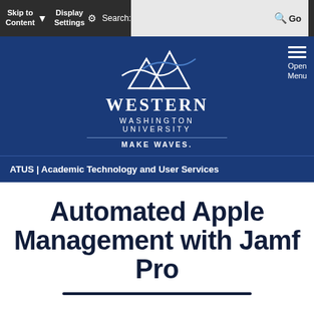Skip to Content | Display Settings | Search: Go
[Figure (logo): Western Washington University logo with mountain/wave graphic, text WESTERN WASHINGTON UNIVERSITY, MAKE WAVES.]
ATUS | Academic Technology and User Services
Automated Apple Management with Jamf Pro